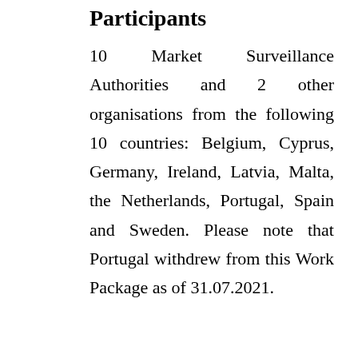Participants
10 Market Surveillance Authorities and 2 other organisations from the following 10 countries: Belgium, Cyprus, Germany, Ireland, Latvia, Malta, the Netherlands, Portugal, Spain and Sweden. Please note that Portugal withdrew from this Work Package as of 31.07.2021.